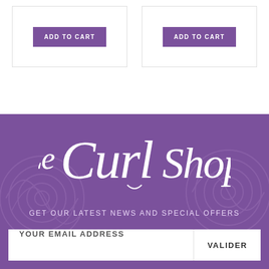[Figure (screenshot): Two product cards each with an ADD TO CART purple button, on a white background]
[Figure (logo): Le Curl Shop logo in white cursive script on purple background with decorative swirl pattern]
GET OUR LATEST NEWS AND SPECIAL OFFERS
YOUR EMAIL ADDRESS
VALIDER